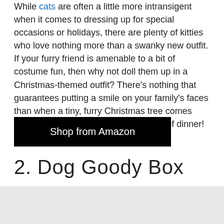While cats are often a little more intransigent when it comes to dressing up for special occasions or holidays, there are plenty of kitties who love nothing more than a swanky new outfit. If your furry friend is amenable to a bit of costume fun, then why not doll them up in a Christmas-themed outfit? There's nothing that guarantees putting a smile on your family's faces than when a tiny, furry Christmas tree comes wandering into the room in the middle of dinner!
Shop from Amazon
2. Dog Goody Box
[Figure (photo): Image placeholder / photo area (light gray background)]